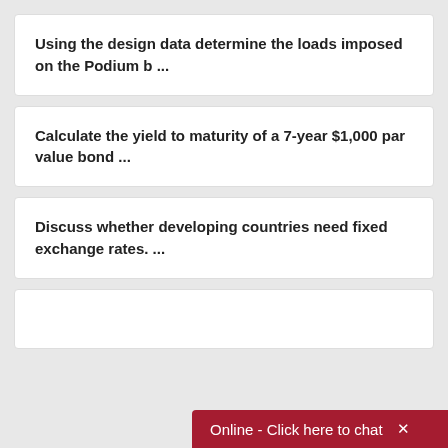Using the design data determine the loads imposed on the Podium b ...
Calculate the yield to maturity of a 7-year $1,000 par value bond ...
Discuss whether developing countries need fixed exchange rates. ...
Online - Click here to chat